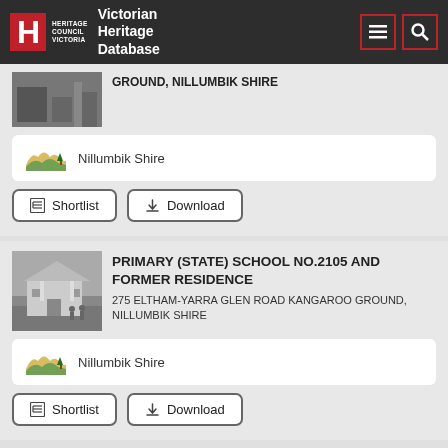Heritage Council Victoria — Victorian Heritage Database
GROUND, NILLUMBIK SHIRE
Nillumbik Shire
Shortlist | Download
PRIMARY (STATE) SCHOOL NO.2105 AND FORMER RESIDENCE
275 ELTHAM-YARRA GLEN ROAD KANGAROO GROUND, NILLUMBIK SHIRE
Nillumbik Shire
Shortlist | Download